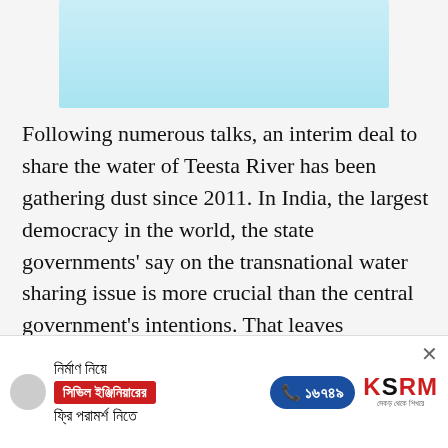[Figure (other): Light blue advertisement banner at top of page]
Following numerous talks, an interim deal to share the water of Teesta River has been gathering dust since 2011. In India, the largest democracy in the world, the state governments' say on the transnational water sharing issue is more crucial than the central government's intentions. That leaves Bangladesh at the mercy of how Uttar Pradesh, Madhya Pradesh, Bihar, West Bengal, and Sikkim play their parts to share
[Figure (other): Advertisement banner in Bengali for KSRM civil engineer consultation service with phone number 16749]